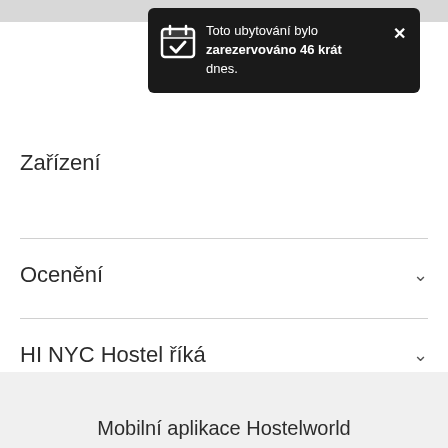[Figure (screenshot): Popup notification with calendar icon reading: Toto ubytování bylo zarezervováno 46 krát dnes. with close X button.]
Zařízení
Ocenění
HI NYC Hostel říká
Mobilní aplikace Hostelworld